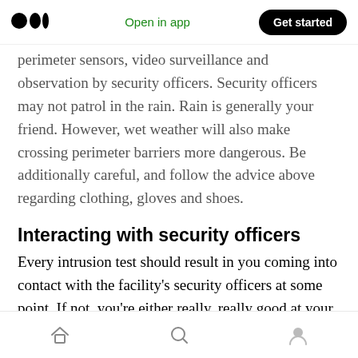Medium logo | Open in app | Get started
perimeter sensors, video surveillance and observation by security officers. Security officers may not patrol in the rain. Rain is generally your friend. However, wet weather will also make crossing perimeter barriers more dangerous. Be additionally careful, and follow the advice above regarding clothing, gloves and shoes.
Interacting with security officers
Every intrusion test should result in you coming into contact with the facility's security officers at some point. If not, you're either really, really good at your job, or they're bad at theirs. Depending
Home | Search | Profile